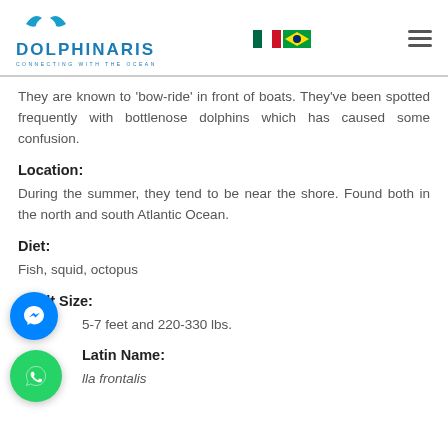DOLPHINARIS — Connecting with the Ocean (logo, flags, hamburger menu)
They are known to 'bow-ride' in front of boats. They've been spotted frequently with bottlenose dolphins which has caused some confusion.
Location:
During the summer, they tend to be near the shore. Found both in the north and south Atlantic Ocean.
Diet:
Fish, squid, octopus
Adult Size:
5-7 feet and 220-330 lbs.
Latin Name:
lla frontalis